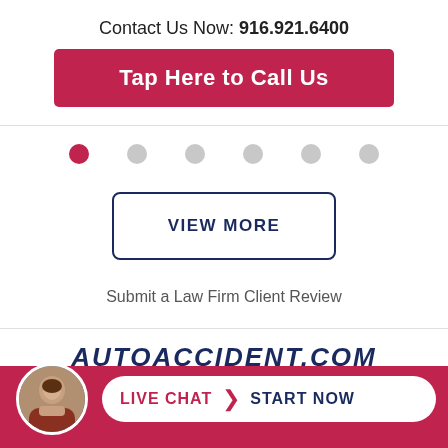Contact Us Now: 916.921.6400
Tap Here to Call Us
[Figure (infographic): Carousel navigation dots: one active (red) dot followed by five inactive (gray) dots]
VIEW MORE
Submit a Law Firm Client Review
AUTOACCIDENT.COM — LIVE CHAT › START NOW